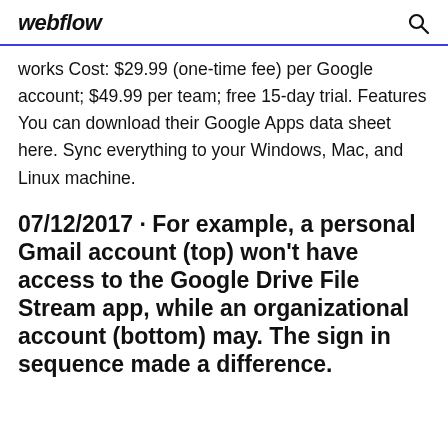webflow
works Cost: $29.99 (one-time fee) per Google account; $49.99 per team; free 15-day trial. Features You can download their Google Apps data sheet here. Sync everything to your Windows, Mac, and Linux machine.
07/12/2017 · For example, a personal Gmail account (top) won't have access to the Google Drive File Stream app, while an organizational account (bottom) may. The sign in sequence made a difference.